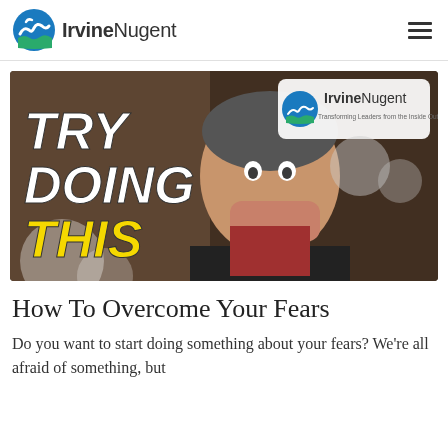IrvineNugent
[Figure (photo): Thumbnail image showing a man looking fearful with hands raised to his face, with bold text 'TRY DOING THIS' overlaid in white and yellow, and the IrvineNugent logo in the top-right corner with tagline 'Transforming Leaders from the Inside Out']
How To Overcome Your Fears
Do you want to start doing something about your fears? We're all afraid of something, but